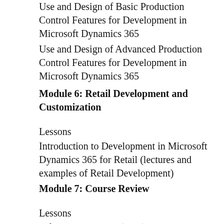Use and Design of Basic Production Control Features for Development in Microsoft Dynamics 365
Use and Design of Advanced Production Control Features for Development in Microsoft Dynamics 365
Module 6: Retail Development and Customization
Lessons
Introduction to Development in Microsoft Dynamics 365 for Retail (lectures and examples of Retail Development)
Module 7: Course Review
Lessons
Life Cycle Services (LCS) Introduction